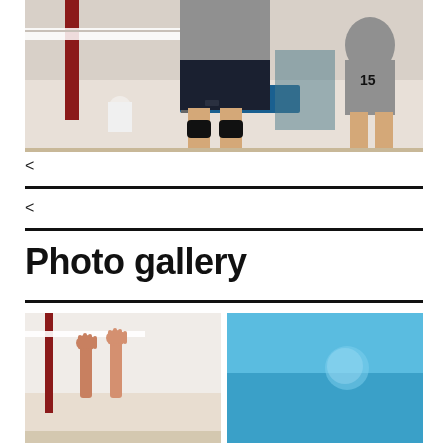[Figure (photo): Volleyball player standing at net in indoor court, wearing gray top and dark shorts with knee pads. Another player visible in background.]
<
<
Photo gallery
[Figure (photo): Volleyball players with hands raised at net in indoor court setting.]
[Figure (photo): Blue sky or outdoor photo with light blue background and faint round shape.]